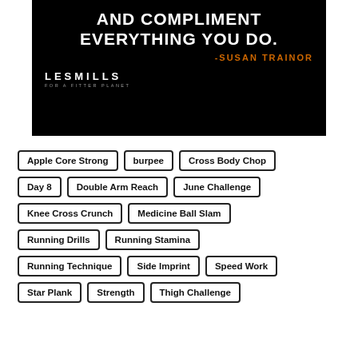[Figure (illustration): Black banner with motivational quote text in white bold uppercase: 'AND COMPLIMENT EVERYTHING YOU DO.' with orange author credit '-SUSAN TRAINOR' and Les Mills 'FOR A FITTER PLANET' logo in white at bottom left.]
Apple Core Strong
burpee
Cross Body Chop
Day 8
Double Arm Reach
June Challenge
Knee Cross Crunch
Medicine Ball Slam
Running Drills
Running Stamina
Running Technique
Side Imprint
Speed Work
Star Plank
Strength
Thigh Challenge